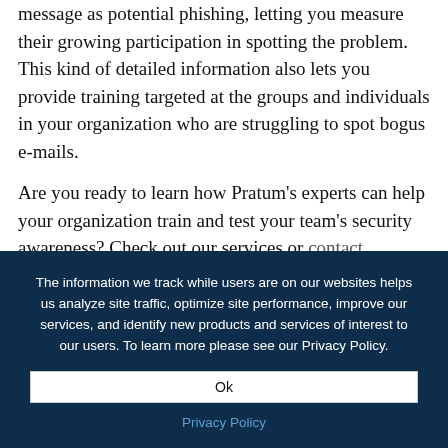message as potential phishing, letting you measure their growing participation in spotting the problem. This kind of detailed information also lets you provide training targeted at the groups and individuals in your organization who are struggling to spot bogus e-mails.
Are you ready to learn how Pratum's experts can help your organization train and test your team's security awareness? Check out our services or contact
The information we track while users are on our websites helps us analyze site traffic, optimize site performance, improve our services, and identify new products and services of interest to our users. To learn more please see our Privacy Policy.
Ok
Privacy Policy